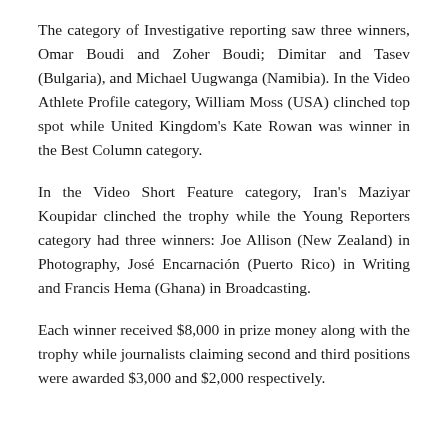The category of Investigative reporting saw three winners, Omar Boudi and Zoher Boudi; Dimitar and Tasev (Bulgaria), and Michael Uugwanga (Namibia). In the Video Athlete Profile category, William Moss (USA) clinched top spot while United Kingdom's Kate Rowan was winner in the Best Column category.
In the Video Short Feature category, Iran's Maziyar Koupidar clinched the trophy while the Young Reporters category had three winners: Joe Allison (New Zealand) in Photography, José Encarnación (Puerto Rico) in Writing and Francis Hema (Ghana) in Broadcasting.
Each winner received $8,000 in prize money along with the trophy while journalists claiming second and third positions were awarded $3,000 and $2,000 respectively.